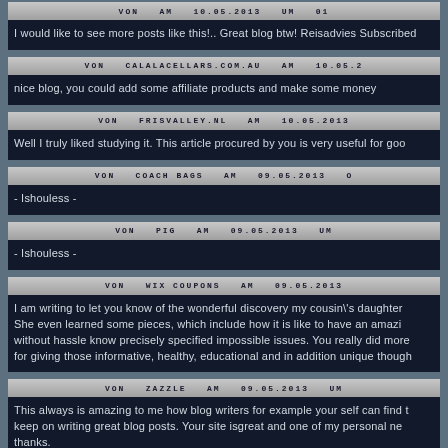VON AM 10.05.2013 UM 01
I would like to see more posts like this!.. Great blog btw! Reisadvies Subscribed
VON CALALACELLARS.COM.AU AM 10.05.2
nice blog, you could add some affiliate products and make some money
VON FRISVALLEY.NL AM 10.05.2013
Well I truly liked studying it. This article procured by you is very useful for goo
VON COACH BAGS AM 09.05.2013 o
- Ishouless -
VON PIG AM 09.05.2013 UM
- Ishouless -
VON WIX COUPONS AM 09.05.2013
I am writing to let you know of the wonderful discovery my cousin's daughter She even learned some pieces, which include how it is like to have an amazi without hassle know precisely specified impossible issues. You really did more for giving those informative, healthy, educational and in addition unique though
VON ZAZZLE AM 09.05.2013 UM
This always is amazing to me how blog writers for example your self can find t keep on writing great blog posts. Your site isgreat and one of my personal ne thanks.